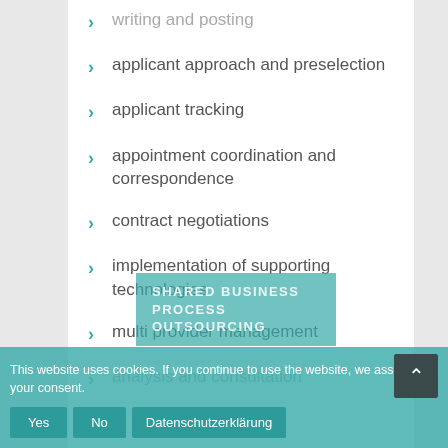writing and posting
applicant approach and preselection
applicant tracking
appointment coordination and correspondence
contract negotiations
implementation of supporting technologies
multi provider management
analysis and consultation
This website uses cookies. If you continue to use the website, we assume your consent.
Yes  No  Datenschutzerklärung